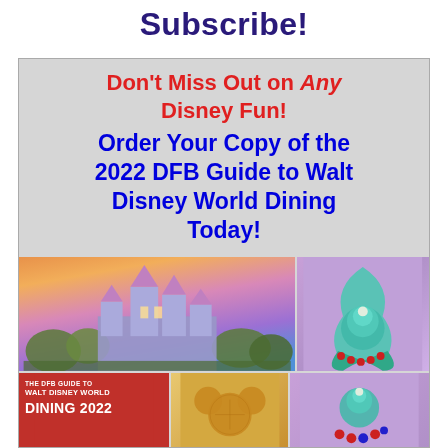Subscribe!
Don't Miss Out on Any Disney Fun!
Order Your Copy of the 2022 DFB Guide to Walt Disney World Dining Today!
[Figure (photo): Collage of Disney World images including Cinderella Castle at sunset, a mermaid-themed cupcake, the DFB Guide book cover, a Mickey-shaped waffle, and colorful Disney treats.]